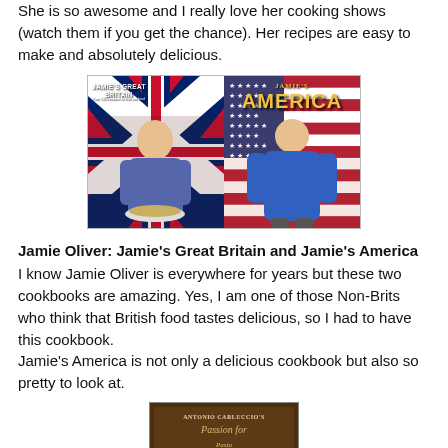She is so awesome and I really love her cooking shows (watch them if you get the chance). Her recipes are easy to make and absolutely delicious.
[Figure (photo): Two cookbook covers side by side: Jamie's Great Britain (left, with Union Jack background) and Jamie's America (right, with American flag background), each showing Jamie Oliver holding food/posing]
Jamie Oliver: Jamie's Great Britain and Jamie's America
I know Jamie Oliver is everywhere for years but these two cookbooks are amazing. Yes, I am one of those Non-Brits who think that British food tastes delicious, so I had to have this cookbook.
Jamie's America is not only a delicious cookbook but also so pretty to look at.
[Figure (photo): Bottom portion of a cookbook cover — Antonio Carluccio's cookbook, dark brown background with gold/cream lettering]